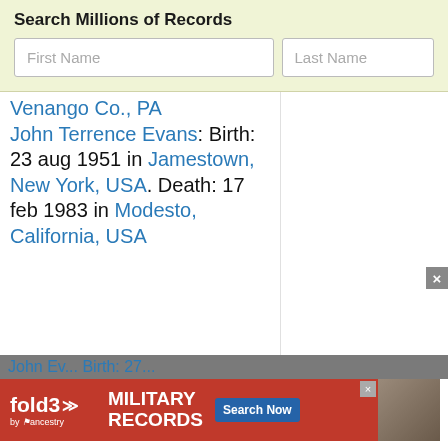Search Millions of Records
First Name
Last Name
Venango Co., PA John Terrence Evans: Birth: 23 aug 1951 in Jamestown, New York, USA. Death: 17 feb 1983 in Modesto, California, USA
John Ev... Birth: 27...
[Figure (infographic): Fold3 by Ancestry advertisement banner for Military Records with Search Now button]